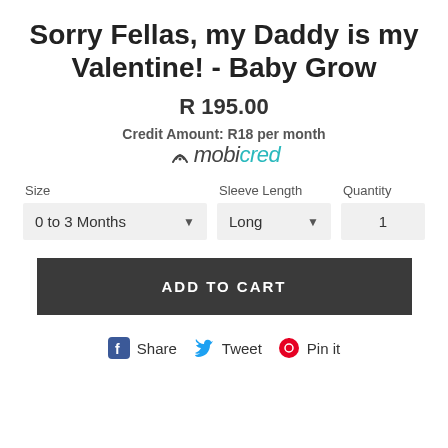Sorry Fellas, my Daddy is my Valentine! - Baby Grow
R 195.00
Credit Amount: R18 per month
[Figure (logo): Mobicred logo with wifi signal icon, 'mobi' in dark grey italic and 'cred' in teal italic]
Size  Sleeve Length  Quantity
0 to 3 Months  Long  1
ADD TO CART
Share  Tweet  Pin it